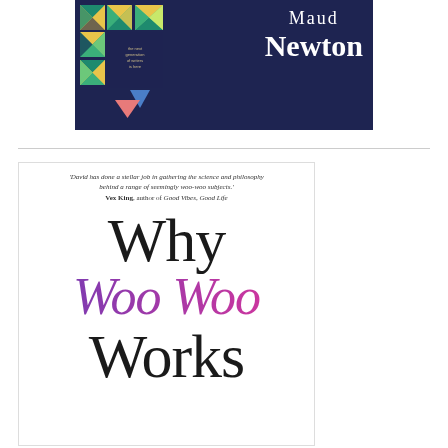[Figure (illustration): Top portion of a book cover showing the name 'Maud Newton' in white serif font on a dark navy background, with a colorful geometric quilt-pattern block on the left side featuring teal, yellow, green, and pink triangles and squares. Small blue and pink triangles appear in the lower middle area.]
[Figure (illustration): Book cover for 'Why Woo Woo Works' with a blurb from Vex King at the top reading: 'David has done a stellar job in gathering the science and philosophy behind a range of seemingly woo-woo subjects.' Vex King, author of Good Vibes, Good Life. The title 'Why' is in large thin black serif font, 'Woo Woo' is in large italic script with a purple-to-pink gradient, and 'Works' is in large thin black serif font.]